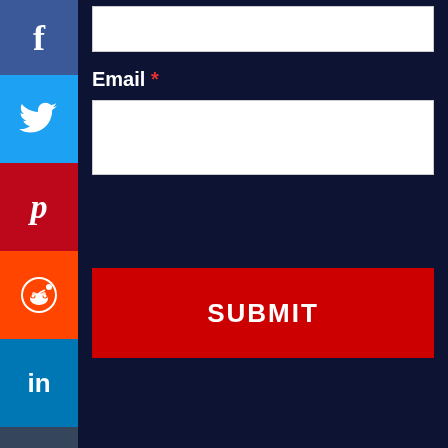[Figure (screenshot): Partial white text input box at top, cut off from above]
Email *
[Figure (screenshot): White email input text field]
SUBMIT
[Figure (infographic): Social share sidebar with Facebook (f), Twitter bird, Pinterest (p), Reddit alien, LinkedIn (in), Tumblr (t) buttons stacked vertically on the left side]